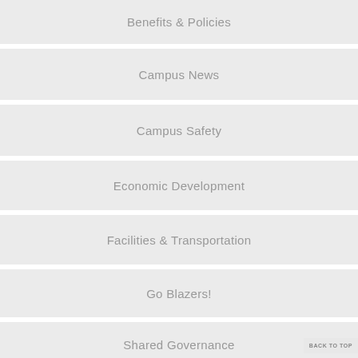Benefits & Policies
Campus News
Campus Safety
Economic Development
Facilities & Transportation
Go Blazers!
Shared Governance
BACK TO TOP